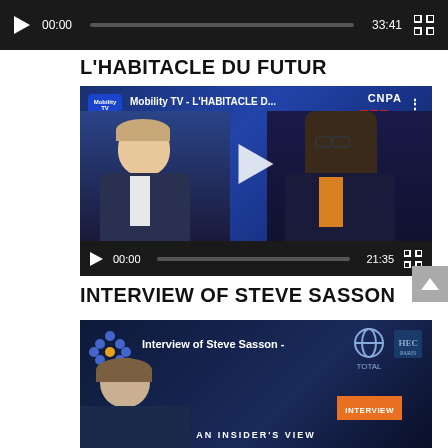[Figure (screenshot): Video player control bar showing play button, time 00:00, progress bar, duration 33:41, and fullscreen button on dark background]
L'HABITACLE DU FUTUR
[Figure (screenshot): Mobility TV video thumbnail showing two men being interviewed with CNPA and Argus logos, title 'Mobility TV - L'HABITACLE D...' with play button overlay and controls showing 00:00 / 21:35]
INTERVIEW OF STEVE SASSON
[Figure (screenshot): Interview of Steve Sasson video thumbnail showing a person, Total and HEC logos, Interview badge, and 'AN INSIDER'S VIEW' text at bottom]